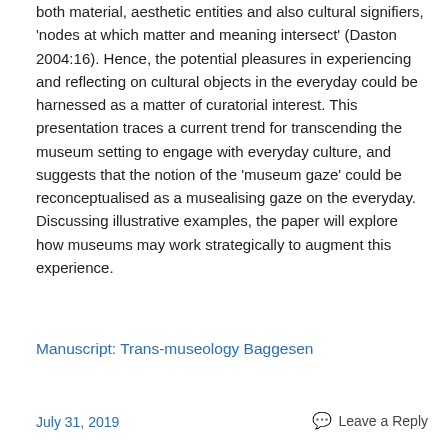both material, aesthetic entities and also cultural signifiers, 'nodes at which matter and meaning intersect' (Daston 2004:16). Hence, the potential pleasures in experiencing and reflecting on cultural objects in the everyday could be harnessed as a matter of curatorial interest. This presentation traces a current trend for transcending the museum setting to engage with everyday culture, and suggests that the notion of the 'museum gaze' could be reconceptualised as a musealising gaze on the everyday. Discussing illustrative examples, the paper will explore how museums may work strategically to augment this experience.
Manuscript: Trans-museology Baggesen
July 31, 2019
Leave a Reply